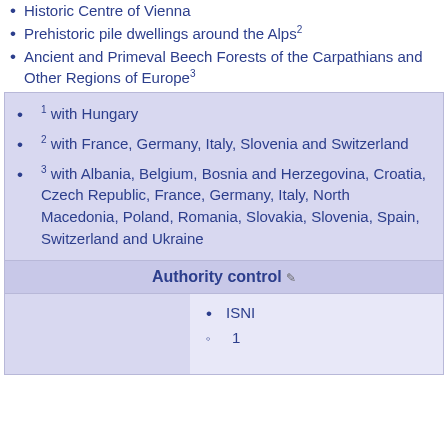Historic Centre of Vienna
Prehistoric pile dwellings around the Alps²
Ancient and Primeval Beech Forests of the Carpathians and Other Regions of Europe³
¹ with Hungary
² with France, Germany, Italy, Slovenia and Switzerland
³ with Albania, Belgium, Bosnia and Herzegovina, Croatia, Czech Republic, France, Germany, Italy, North Macedonia, Poland, Romania, Slovakia, Slovenia, Spain, Switzerland and Ukraine
Authority control
ISNI
1